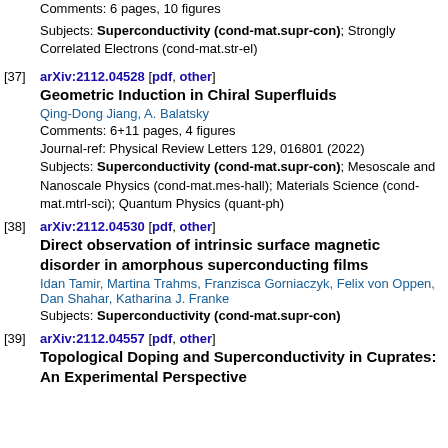Comments: 6 pages, 10 figures
Subjects: Superconductivity (cond-mat.supr-con); Strongly Correlated Electrons (cond-mat.str-el)
[37] arXiv:2112.04528 [pdf, other]
Geometric Induction in Chiral Superfluids
Qing-Dong Jiang, A. Balatsky
Comments: 6+11 pages, 4 figures
Journal-ref: Physical Review Letters 129, 016801 (2022)
Subjects: Superconductivity (cond-mat.supr-con); Mesoscale and Nanoscale Physics (cond-mat.mes-hall); Materials Science (cond-mat.mtrl-sci); Quantum Physics (quant-ph)
[38] arXiv:2112.04530 [pdf, other]
Direct observation of intrinsic surface magnetic disorder in amorphous superconducting films
Idan Tamir, Martina Trahms, Franzisca Gorniaczyk, Felix von Oppen, Dan Shahar, Katharina J. Franke
Subjects: Superconductivity (cond-mat.supr-con)
[39] arXiv:2112.04557 [pdf, other]
Topological Doping and Superconductivity in Cuprates: An Experimental Perspective